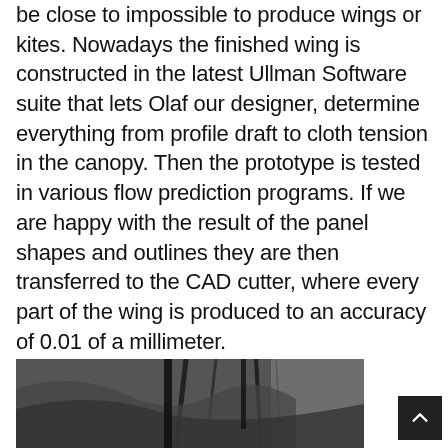be close to impossible to produce wings or kites. Nowadays the finished wing is constructed in the latest Ullman Software suite that lets Olaf our designer, determine everything from profile draft to cloth tension in the canopy. Then the prototype is tested in various flow prediction programs. If we are happy with the result of the panel shapes and outlines they are then transferred to the CAD cutter, where every part of the wing is produced to an accuracy of 0.01 of a millimeter.
[Figure (photo): Black and white photo of a wing/kite component, partially visible at the bottom of the page]